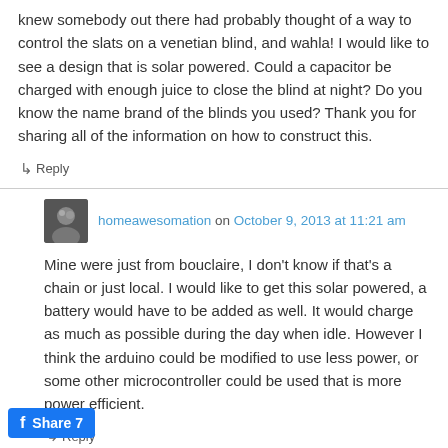knew somebody out there had probably thought of a way to control the slats on a venetian blind, and wahla! I would like to see a design that is solar powered. Could a capacitor be charged with enough juice to close the blind at night? Do you know the name brand of the blinds you used? Thank you for sharing all of the information on how to construct this.
↳ Reply
homeawesomation on October 9, 2013 at 11:21 am
Mine were just from bouclaire, I don't know if that's a chain or just local. I would like to get this solar powered, a battery would have to be added as well. It would charge as much as possible during the day when idle. However I think the arduino could be modified to use less power, or some other microcontroller could be used that is more power efficient.
↳ Reply
Share 7